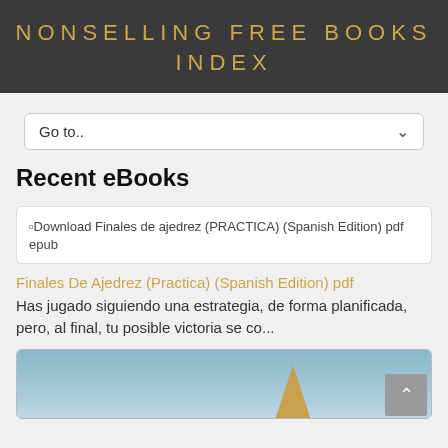NONSELLING FREE BOOKS INDEX
Go to..
Recent eBooks
[Figure (screenshot): Broken image placeholder for 'Download Finales de ajedrez (PRACTICA) (Spanish Edition) pdf epub']
Finales De Ajedrez (Practica) (Spanish Edition) pdf
Has jugado siguiendo una estrategia, de forma planificada, pero, al final, tu posible victoria se co...
[Figure (photo): Partially visible book cover image with blue sky and a tower/spire shape in gold/brown]